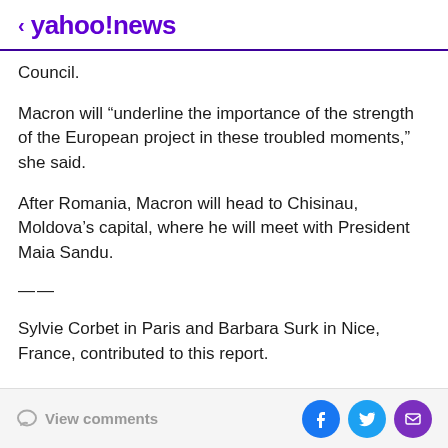< yahoo!news
Council.
Macron will “underline the importance of the strength of the European project in these troubled moments,” she said.
After Romania, Macron will head to Chisinau, Moldova’s capital, where he will meet with President Maia Sandu.
——
Sylvie Corbet in Paris and Barbara Surk in Nice, France, contributed to this report.
Stephen Mcgrath, The Associated Press
View comments